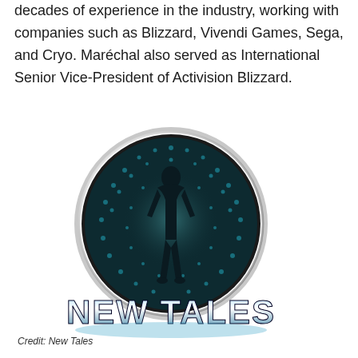decades of experience in the industry, working with companies such as Blizzard, Vivendi Games, Sega, and Cryo. Maréchal also served as International Senior Vice-President of Activision Blizzard.
[Figure (logo): New Tales company logo: a circular emblem with a human silhouette standing inside a teal/dark halftone dot circle with outer ring, and 'NEW TALES' text in bold metallic/futuristic lettering below.]
Credit: New Tales